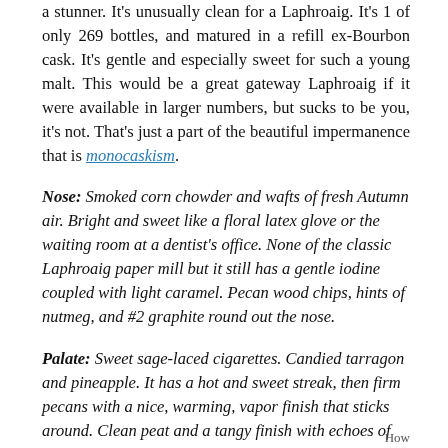a stunner. It's unusually clean for a Laphroaig. It's 1 of only 269 bottles, and matured in a refill ex-Bourbon cask. It's gentle and especially sweet for such a young malt. This would be a great gateway Laphroaig if it were available in larger numbers, but sucks to be you, it's not. That's just a part of the beautiful impermanence that is monocaskism.
Nose: Smoked corn chowder and wafts of fresh Autumn air. Bright and sweet like a floral latex glove or the waiting room at a dentist's office. None of the classic Laphroaig paper mill but it still has a gentle iodine coupled with light caramel. Pecan wood chips, hints of nutmeg, and #2 graphite round out the nose.
Palate: Sweet sage-laced cigarettes. Candied tarragon and pineapple. It has a hot and sweet streak, then firm pecans with a nice, warming, vapor finish that sticks around. Clean peat and a tangy finish with echoes of Super Golden Crisp cereal.
How